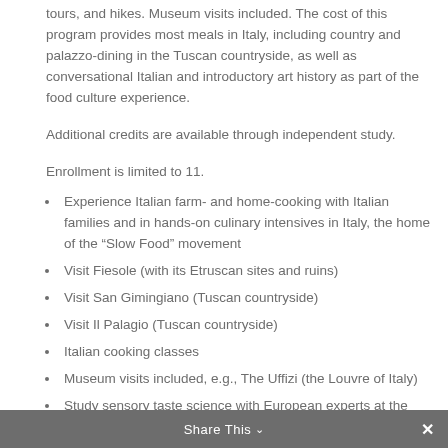tours, and hikes. Museum visits included. The cost of this program provides most meals in Italy, including country and palazzo-dining in the Tuscan countryside, as well as conversational Italian and introductory art history as part of the food culture experience.
Additional credits are available through independent study.
Enrollment is limited to 11.
Experience Italian farm- and home-cooking with Italian families and in hands-on culinary intensives in Italy, the home of the “Slow Food” movement
Visit Fiesole (with its Etruscan sites and ruins)
Visit San Gimingiano (Tuscan countryside)
Visit Il Palagio (Tuscan countryside)
Italian cooking classes
Museum visits included, e.g., The Uffizi (the Louvre of Italy)
Study sensory taste science with European experts at the University of Florence (Medeo)
Share This